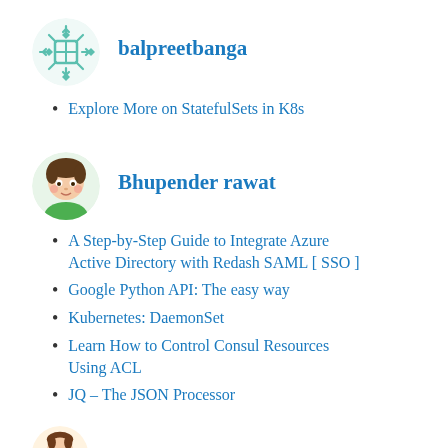[Figure (logo): Teal/mint snowflake-style decorative avatar icon for user balpreetbanga]
balpreetbanga
Explore More on StatefulSets in K8s
[Figure (illustration): Anime-style cartoon face avatar for user Bhupender rawat]
Bhupender rawat
A Step-by-Step Guide to Integrate Azure Active Directory with Redash SAML [ SSO ]
Google Python API: The easy way
Kubernetes: DaemonSet
Learn How to Control Consul Resources Using ACL
JQ – The JSON Processor
[Figure (illustration): Partial view of another user avatar at bottom of page]